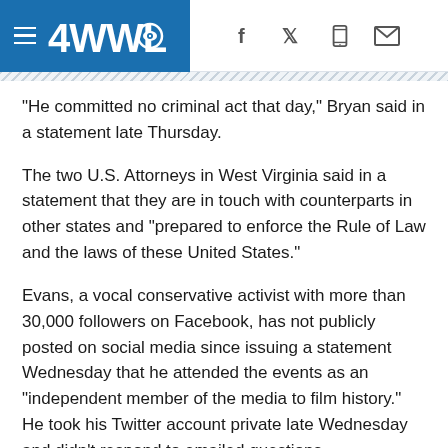4WWL CBS News
“He committed no criminal act that day,” Bryan said in a statement late Thursday.
The two U.S. Attorneys in West Virginia said in a statement that they are in touch with counterparts in other states and “prepared to enforce the Rule of Law and the laws of these United States.”
Evans, a vocal conservative activist with more than 30,000 followers on Facebook, has not publicly posted on social media since issuing a statement Wednesday that he attended the events as an “independent member of the media to film history.” He took his Twitter account private late Wednesday and didn’t respond to emailed questions.
“At no point was Mr. Evans located in the crowd on the West side of the (Capitol) building, nor anywhere else on the